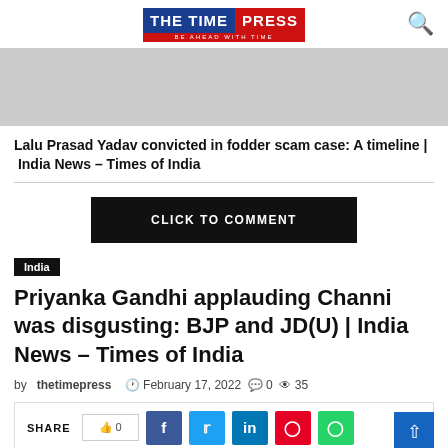THE TIME PRESS — BE AHEAD WITH TIME
[Figure (illustration): Advertisement banner placeholder (grey rectangle)]
Lalu Prasad Yadav convicted in fodder scam case: A timeline | India News – Times of India
CLICK TO COMMENT
India
Priyanka Gandhi applauding Channi was disgusting: BJP and JD(U) | India News – Times of India
by thetimepress  February 17, 2022  0  35
SHARE  0